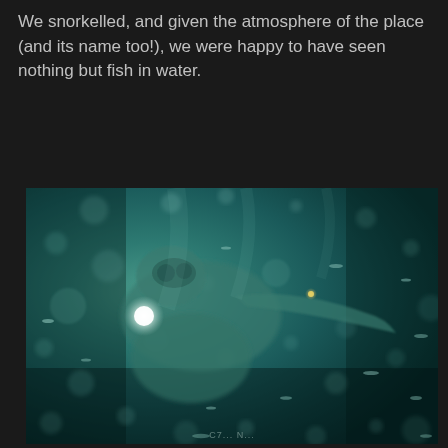We snorkelled, and given the atmosphere of the place (and its name too!), we were happy to have seen nothing but fish in water.
[Figure (photo): Underwater photograph showing a large bluish-green creature or person swimming in murky teal water. The image has a dark teal/green color cast with numerous bokeh bubbles and light reflections visible. A bright white orb is visible in the center-left area. Small fish or light streaks are scattered throughout. The scene is eerie and atmospheric.]